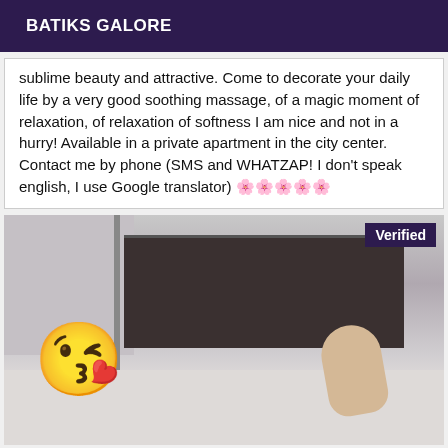BATIKS GALORE
sublime beauty and attractive. Come to decorate your daily life by a very good soothing massage, of a magic moment of relaxation, of relaxation of softness I am nice and not in a hurry! Available in a private apartment in the city center. Contact me by phone (SMS and WHATZAP! I don't speak english, I use Google translator) 🌸🌸🌸🌸🌸
[Figure (photo): A blurry photograph of an indoor room with dark furniture in the background, a pole/stand on the left, a white floor area. A large kissing face with heart emoji overlaid in the bottom-left. A 'Verified' badge in dark purple in the top-right corner.]